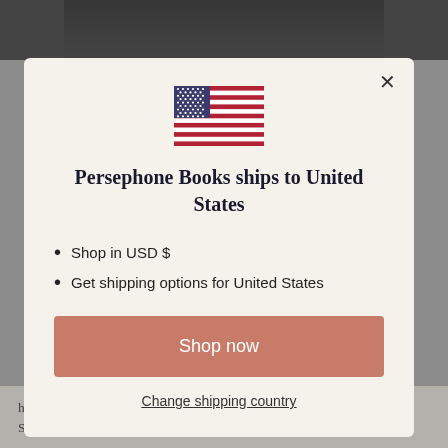[Figure (photo): Dark background image of a person, partially visible at top]
her Persephone Preface. 'So it was that it came out in the same year as Sylvia Plath's The Bell Jar. The
[Figure (screenshot): Modal dialog: US flag icon, title 'Persephone Books ships to United States', bullet points 'Shop in USD $' and 'Get shipping options for United States', Shop now button, Change shipping country link]
Persephone Books ships to United States
Shop in USD $
Get shipping options for United States
Shop now
Change shipping country